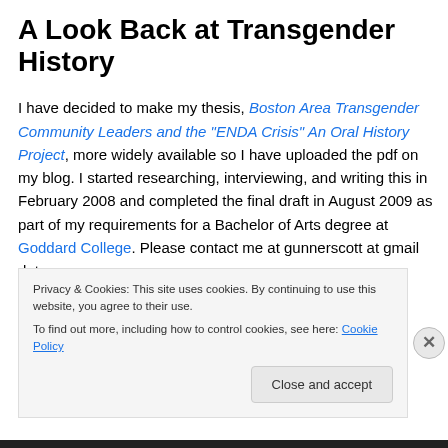A Look Back at Transgender History
I have decided to make my thesis, Boston Area Transgender Community Leaders and the "ENDA Crisis" An Oral History Project, more widely available so I have uploaded the pdf on my blog. I started researching, interviewing, and writing this in February 2008 and completed the final draft in August 2009 as part of my requirements for a Bachelor of Arts degree at Goddard College. Please contact me at gunnerscott at gmail dot
Privacy & Cookies: This site uses cookies. By continuing to use this website, you agree to their use.
To find out more, including how to control cookies, see here: Cookie Policy